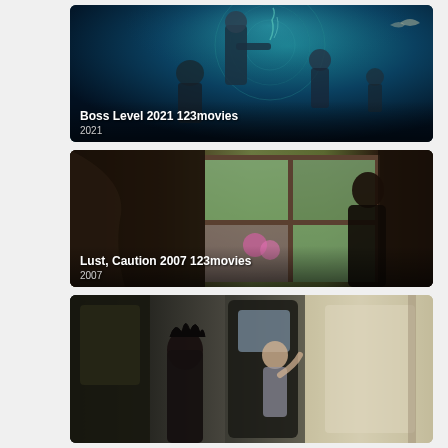[Figure (photo): Movie thumbnail for Boss Level 2021 123movies — dark teal sci-fi action poster with man pointing gun and group of characters]
Boss Level 2021 123movies
2021
[Figure (photo): Movie thumbnail for Lust, Caution 2007 123movies — scene of a person looking out a large window with garden view]
Lust, Caution 2007 123movies
2007
[Figure (photo): Movie thumbnail (partial) — anime or film scene inside a train/bus, two characters facing each other through a doorway]